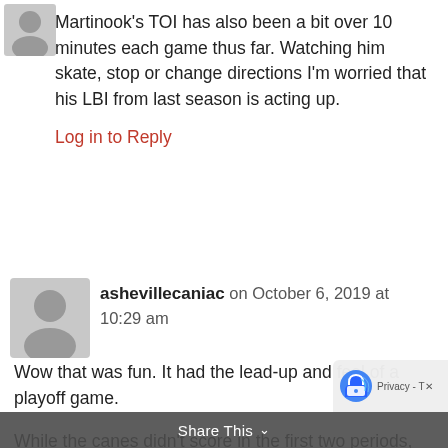Martinook’s TOI has also been a bit over 10 minutes each game thus far. Watching him skate, stop or change directions I’m worried that his LBI from last season is acting up.
Log in to Reply
ashevillecaniac on October 6, 2019 at 10:29 am
Wow that was fun. It had the lead-up and feel of a playoff game.
While the canes didn’t score in the first two periods, they played very well (with the exception of penalties). It was truly a case of “keep doing what you are doing”